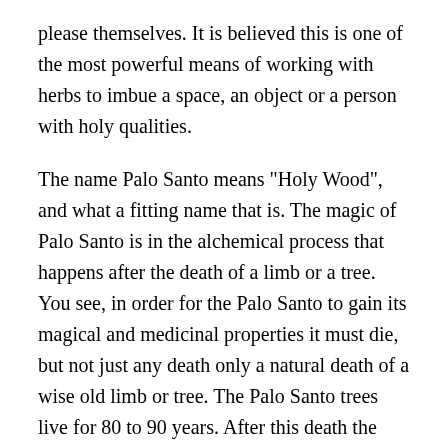please themselves. It is believed this is one of the most powerful means of working with herbs to imbue a space, an object or a person with holy qualities.
The name Palo Santo means "Holy Wood", and what a fitting name that is. The magic of Palo Santo is in the alchemical process that happens after the death of a limb or a tree. You see, in order for the Palo Santo to gain its magical and medicinal properties it must die, but not just any death only a natural death of a wise old limb or tree. The Palo Santo trees live for 80 to 90 years. After this death the tree must remain in its natural habitat for 4 to 10 years to complete its metamorphosis. Only then do its sacred, medicinal and mystical properties come alive.
Palo Santo has been used for thousands of years in Peru and Ecuador by shamans and healers. To add to the sacred...